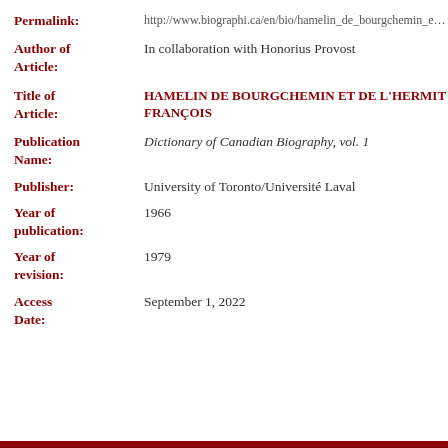| Field | Value |
| --- | --- |
| Permalink: | http://www.biographi.ca/en/bio/hamelin_de_bourgchemin_et_de_l_ |
| Author of Article: | In collaboration with Honorius Provost |
| Title of Article: | HAMELIN DE BOURGCHEMIN ET DE L'HERMIT FRANÇOIS |
| Publication Name: | Dictionary of Canadian Biography, vol. 1 |
| Publisher: | University of Toronto/Université Laval |
| Year of publication: | 1966 |
| Year of revision: | 1979 |
| Access Date: | September 1, 2022 |